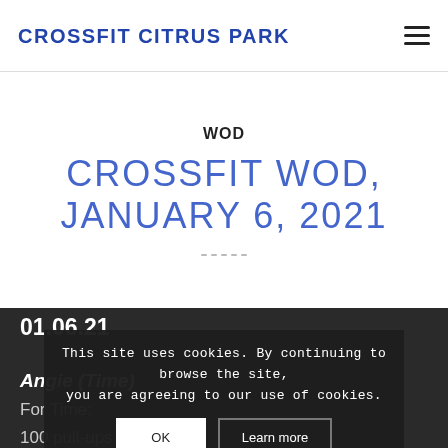CrossFit Citrus Park
WOD
CROSSFIT WOD, JANUARY 6, 2021
01.06.21
Angie (Time)
For Time:
100 pull-ups
This site uses cookies. By continuing to browse the site, you are agreeing to our use of cookies.